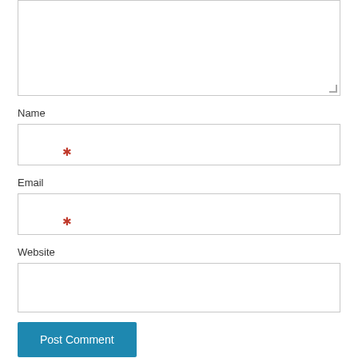[Figure (screenshot): A textarea form field with resize handle at bottom-right corner]
Name
[Figure (screenshot): Name input field with a red asterisk required marker]
Email
[Figure (screenshot): Email input field with a red asterisk required marker]
Website
[Figure (screenshot): Website input field]
Post Comment
Notify me of follow-up comments by email.